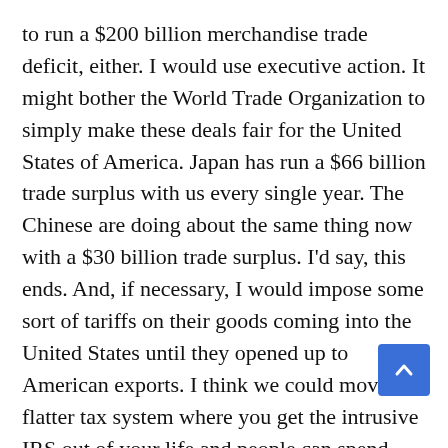to run a $200 billion merchandise trade deficit, either. I would use executive action. It might bother the World Trade Organization to simply make these deals fair for the United States of America. Japan has run a $66 billion trade surplus with us every single year. The Chinese are doing about the same thing now with a $30 billion trade surplus. I'd say, this ends. And, if necessary, I would impose some sort of tariffs on their goods coming into the United States until they opened up to American exports. I think we could move to a flatter tax system where you get the intrusive IRS out of your life and people can spend their time thinking about where they want to invest and work and save. You would rearrange the tax codes to put incentives for saving and investing and working, rather than the incentives that they have in the tax code now which, in many cases, are for welfare. So there are a lot of things you can do, and I think it would be a dramatic first eight...